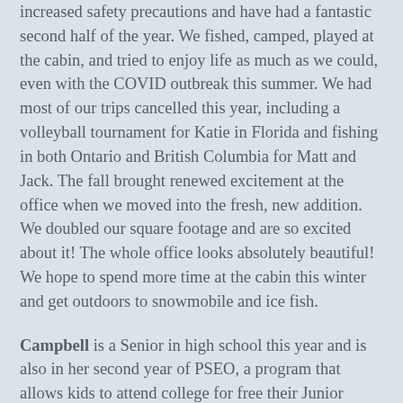increased safety precautions and have had a fantastic second half of the year. We fished, camped, played at the cabin, and tried to enjoy life as much as we could, even with the COVID outbreak this summer. We had most of our trips cancelled this year, including a volleyball tournament for Katie in Florida and fishing in both Ontario and British Columbia for Matt and Jack. The fall brought renewed excitement at the office when we moved into the fresh, new addition. We doubled our square footage and are so excited about it! The whole office looks absolutely beautiful! We hope to spend more time at the cabin this winter and get outdoors to snowmobile and ice fish.
Campbell is a Senior in high school this year and is also in her second year of PSEO, a program that allows kids to attend college for free their Junior and/or Senior years of high school. She will graduate this spring with her AA degree from Lake Superior College and her high school diploma. She worked for us at the dental office over the summer and has worked at the Tutoring Center at LSC this 2020/2021 school year, tutoring